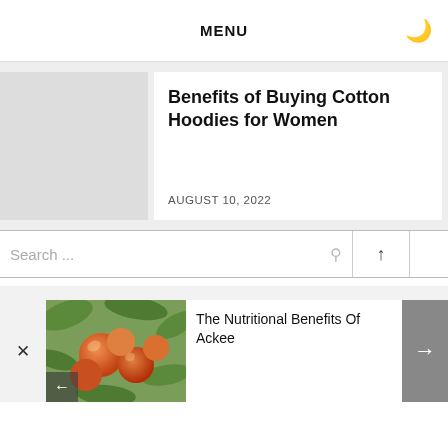MENU
Benefits of Buying Cotton Hoodies for Women
AUGUST 10, 2022
Search ...
[Figure (photo): Photo of red/orange fruits (ackee) hanging on a tree with green leaves]
The Nutritional Benefits Of Ackee